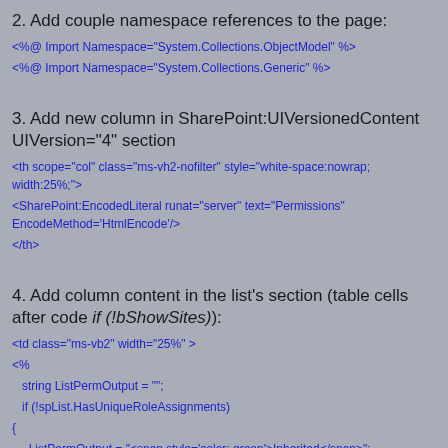2. Add couple namespace references to the page:
<%@ Import Namespace="System.Collections.ObjectModel" %>
<%@ Import Namespace="System.Collections.Generic" %>
3. Add new column in SharePoint:UIVersionedContent UIVersion="4" section
<th scope="col" class="ms-vh2-nofilter" style="white-space:nowrap; width:25%;">
<SharePoint:EncodedLiteral runat="server" text="Permissions" EncodeMethod='HtmlEncode'/>
</th>
4. Add column content in the list's section (table cells after code if (!bShowSites)):
<td class="ms-vb2" width="25%" >
<%
string ListPermOutput = "";
if (!spList.HasUniqueRoleAssignments)
{
ListPermOutput = "<span style='color: green'>Inherited</span>";
}
else